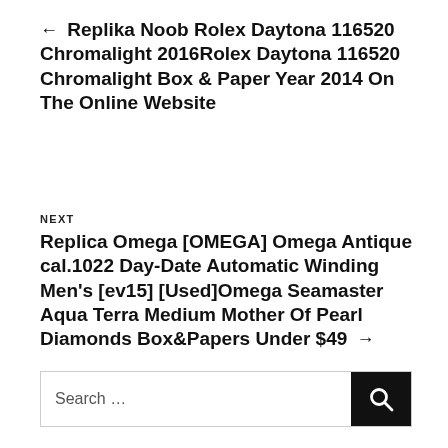← Replika Noob Rolex Daytona 116520 Chromalight 2016Rolex Daytona 116520 Chromalight Box & Paper Year 2014 On The Online Website
NEXT
Replica Omega [OMEGA] Omega Antique cal.1022 Day-Date Automatic Winding Men's [ev15] [Used]Omega Seamaster Aqua Terra Medium Mother Of Pearl Diamonds Box&Papers Under $49 →